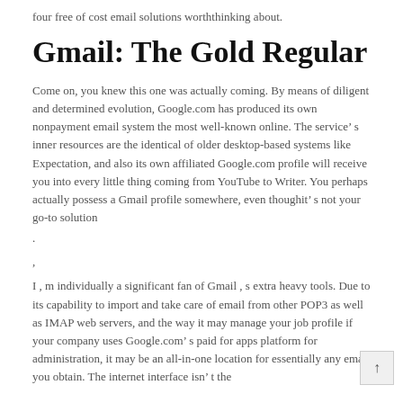four free of cost email solutions worththinking about.
Gmail: The Gold Regular
Come on, you knew this one was actually coming. By means of diligent and determined evolution, Google.com has produced its own nonpayment email system the most well-known online. The service’ s inner resources are the identical of older desktop-based systems like Expectation, and also its own affiliated Google.com profile will receive you into every little thing coming from YouTube to Writer. You perhaps actually possess a Gmail profile somewhere, even thoughit’ s not your go-to solution
.
,
I , m individually a significant fan of Gmail , s extra heavy tools. Due to its capability to import and take care of email from other POP3 as well as IMAP web servers, and the way it may manage your job profile if your company uses Google.com’ s paid for apps platform for administration, it may be an all-in-one location for essentially any email you obtain. The internet interface isn’ t the